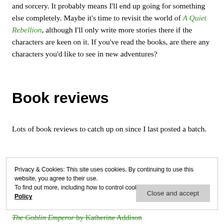and sorcery. It probably means I'll end up going for something else completely. Maybe it's time to revisit the world of A Quiet Rebellion, although I'll only write more stories there if the characters are keen on it. If you've read the books, are there any characters you'd like to see in new adventures?
Book reviews
Lots of book reviews to catch up on since I last posted a batch.
Privacy & Cookies: This site uses cookies. By continuing to use this website, you agree to their use.
To find out more, including how to control cookies, see here: Cookie Policy
Close and accept
The Goblin Emperor by Katherine Addison